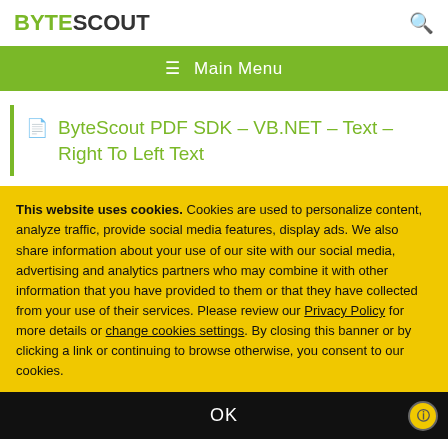BYTESCOUT
ByteScout PDF SDK – VB.NET – Text – Right To Left Text
This website uses cookies. Cookies are used to personalize content, analyze traffic, provide social media features, display ads. We also share information about your use of our site with our social media, advertising and analytics partners who may combine it with other information that you have provided to them or that they have collected from your use of their services. Please review our Privacy Policy for more details or change cookies settings. By closing this banner or by clicking a link or continuing to browse otherwise, you consent to our cookies.
OK